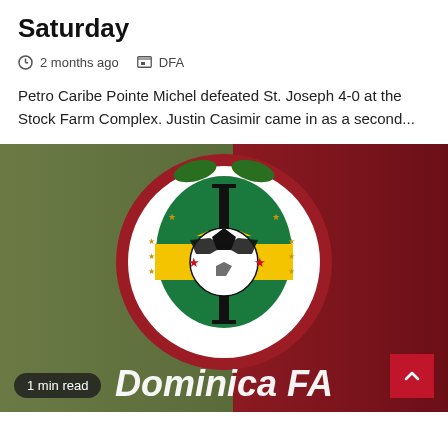Saturday
2 months ago  DFA
Petro Caribe Pointe Michel defeated St. Joseph 4-0 at the Stock Farm Complex. Justin Casimir came in as a second...
[Figure (photo): Dominica Football Association logo on a green and dark red background, with 'Dominica FA' text at the bottom and a '1 min read' badge in the lower left corner.]